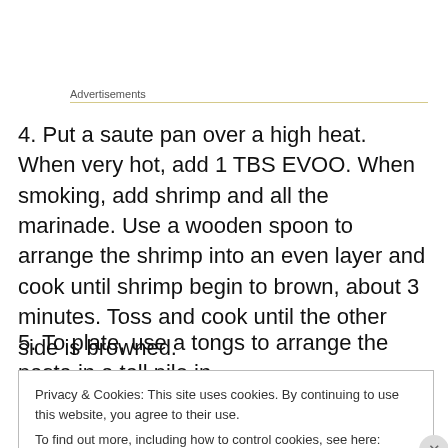Advertisements
4. Put a saute pan over a high heat. When very hot, add 1 TBS EVOO. When smoking, add shrimp and all the marinade. Use a wooden spoon to arrange the shrimp into an even layer and cook until shrimp begin to brown, about 3 minutes. Toss and cook until the other side is browned.
5. To plate, use a tongs to arrange the pasta in a tall pile in
Privacy & Cookies: This site uses cookies. By continuing to use this website, you agree to their use.
To find out more, including how to control cookies, see here: Cookie Policy
Close and accept